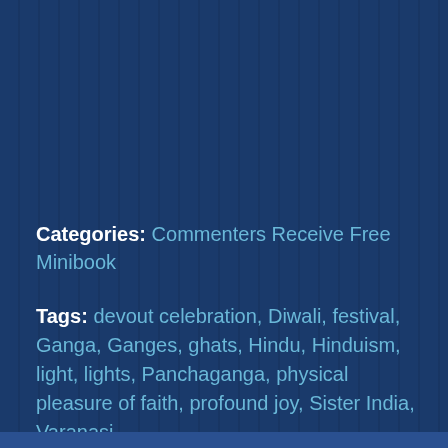Categories: Commenters Receive Free Minibook
Tags: devout celebration, Diwali, festival, Ganga, Ganges, ghats, Hindu, Hinduism, light, lights, Panchaganga, physical pleasure of faith, profound joy, Sister India, Varanasi
[Figure (infographic): Row of six social sharing buttons: green share icon, Facebook (blue), Twitter (light blue), LinkedIn (dark blue), Pinterest (red), Email (grey)]
Comments